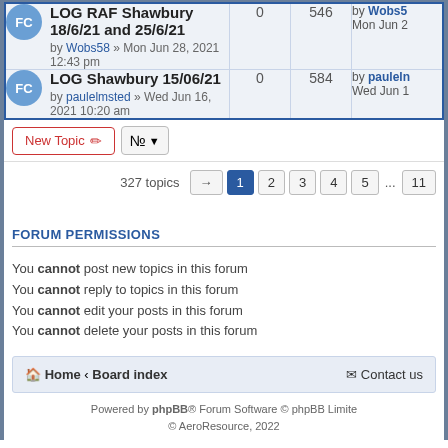| Topic | Replies | Views | Last post |
| --- | --- | --- | --- |
| LOG RAF Shawbury 18/6/21 and 25/6/21 | by Wobs58 » Mon Jun 28, 2021 12:43 pm | 0 | 546 | by Wobs58 | Mon Jun 2 |
| LOG Shawbury 15/06/21 | by paulelmsted » Wed Jun 16, 2021 10:20 am | 0 | 584 | by paulelmsted | Wed Jun 1 |
New Topic | sort controls
327 topics · Pages: 1 2 3 4 5 ... 11
FORUM PERMISSIONS
You cannot post new topics in this forum
You cannot reply to topics in this forum
You cannot edit your posts in this forum
You cannot delete your posts in this forum
Home · Board index · Contact us
Powered by phpBB® Forum Software © phpBB Limited © AeroResource, 2022